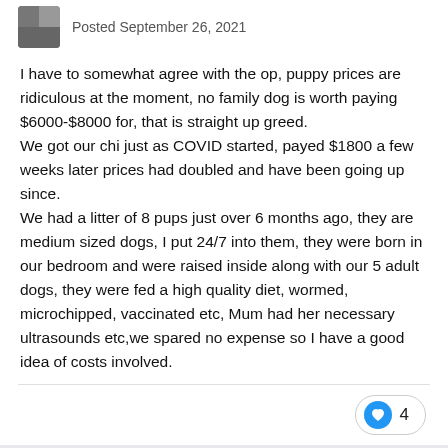Posted September 26, 2021
I have to somewhat agree with the op, puppy prices are ridiculous at the moment, no family dog is worth paying $6000-$8000 for, that is straight up greed.
We got our chi just as COVID started, payed $1800 a few weeks later prices had doubled and have been going up since.
We had a litter of 8 pups just over 6 months ago, they are medium sized dogs, I put 24/7 into them, they were born in our bedroom and were raised inside along with our 5 adult dogs, they were fed a high quality diet, wormed, microchipped, vaccinated etc, Mum had her necessary ultrasounds etc,we spared no expense so I have a good idea of costs involved.
4
Rebanne
Posted September 26, 2021